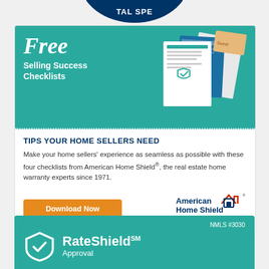[Figure (logo): Partial circular badge/seal at top with dark navy blue background and white text reading 'TAL SPE']
[Figure (infographic): Teal-colored promotional ad box for American Home Shield 'Free Selling Success Checklists' with fanned document images on right side and dotted separator line at bottom]
TIPS YOUR HOME SELLERS NEED
Make your home sellers' experience as seamless as possible with these four checklists from American Home Shield®, the real estate home warranty experts since 1971.
[Figure (logo): Orange 'Download Now' button on the left, and American Home Shield logo on the right with red house icon outline and tagline 'Be sure with the Shield.']
[Figure (infographic): Teal banner at bottom showing RateShield Approval branding with shield+checkmark icon, NMLS #3030 text in upper right]